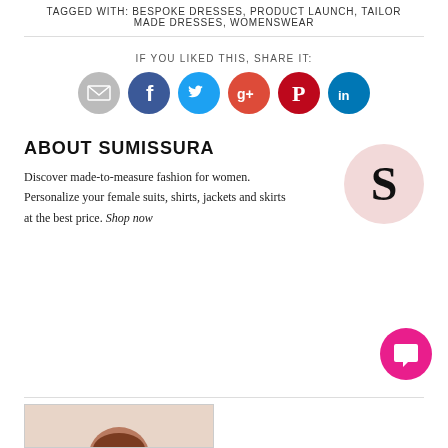TAGGED WITH: BESPOKE DRESSES, PRODUCT LAUNCH, TAILOR MADE DRESSES, WOMENSWEAR
IF YOU LIKED THIS, SHARE IT:
[Figure (illustration): Six social media sharing icon circles: email (grey), Facebook (blue), Twitter (light blue), Google+ (red), Pinterest (dark red), LinkedIn (blue)]
ABOUT SUMISSURA
Discover made-to-measure fashion for women. Personalize your female suits, shirts, jackets and skirts at the best price. Shop now
[Figure (logo): Pink circle with bold black letter S — Sumissura logo]
[Figure (illustration): Hot pink circle chat bubble icon in lower right]
[Figure (photo): Bottom partial photo strip showing top of a woman's head with brown hair]